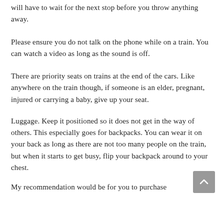will have to wait for the next stop before you throw anything away.
Please ensure you do not talk on the phone while on a train. You can watch a video as long as the sound is off.
There are priority seats on trains at the end of the cars. Like anywhere on the train though, if someone is an elder, pregnant, injured or carrying a baby, give up your seat.
Luggage. Keep it positioned so it does not get in the way of others. This especially goes for backpacks. You can wear it on your back as long as there are not too many people on the train, but when it starts to get busy, flip your backpack around to your chest.
My recommendation would be for you to purchase